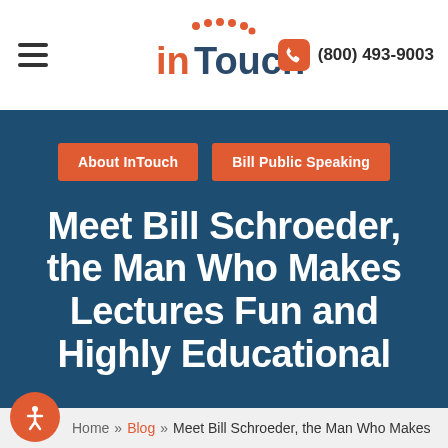InTouch | (800) 493-9003
[Figure (logo): InTouch logo with orange dots above and orange/dark text]
(800) 493-9003
About InTouch
Bill Public Speaking
Meet Bill Schroeder, the Man Who Makes Lectures Fun and Highly Educational
Home » Blog » Meet Bill Schroeder, the Man Who Makes